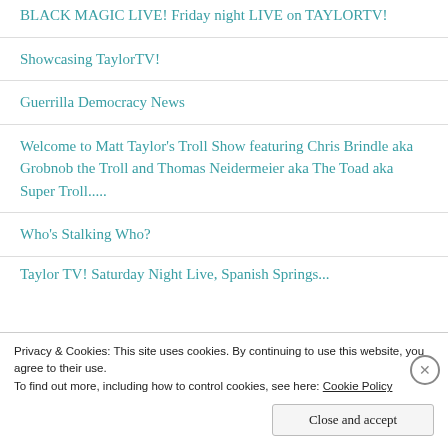BLACK MAGIC LIVE! Friday night LIVE on TAYLORTV!
Showcasing TaylorTV!
Guerrilla Democracy News
Welcome to Matt Taylor's Troll Show featuring Chris Brindle aka Grobnob the Troll and Thomas Neidermeier aka The Toad aka Super Troll.....
Who's Stalking Who?
Taylor TV! Saturday Night Live, Spanish Springs...
Privacy & Cookies: This site uses cookies. By continuing to use this website, you agree to their use.
To find out more, including how to control cookies, see here: Cookie Policy
Close and accept